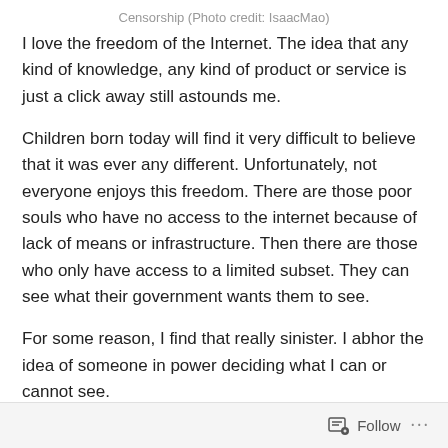Censorship (Photo credit: IsaacMao)
I love the freedom of the Internet. The idea that any kind of knowledge, any kind of product or service is just a click away still astounds me.
Children born today will find it very difficult to believe that it was ever any different. Unfortunately, not everyone enjoys this freedom. There are those poor souls who have no access to the internet because of lack of means or infrastructure. Then there are those who only have access to a limited subset. They can see what their government wants them to see.
For some reason, I find that really sinister. I abhor the idea of someone in power deciding what I can or cannot see.
Follow ...